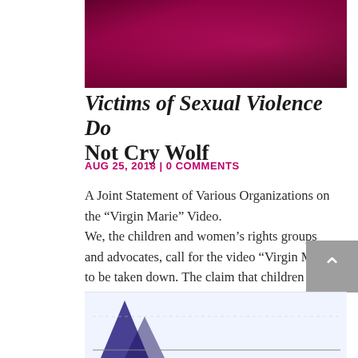[Figure (photo): Partial image at top showing a dark crimson/magenta abstract or floral background, partially cropped.]
Victims of Sexual Violence Do Not Cry Wolf
AUG 25, 2018 | 0 COMMENTS
A Joint Statement of Various Organizations on the “Virgin Marie” Video.
We, the children and women’s rights groups and advocates, call for the video “Virgin Marie” to be taken down. The claim that children fabricate rape allegations is unfounded.
[Figure (other): Partial image at the bottom of the page, appears to show a dark triangular or spike shape on a light background, possibly a chart or graphic.]